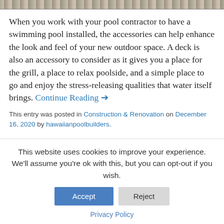[Figure (photo): Top strip of a wooden deck/floor texture, partially cropped]
When you work with your pool contractor to have a swimming pool installed, the accessories can help enhance the look and feel of your new outdoor space. A deck is also an accessory to consider as it gives you a place for the grill, a place to relax poolside, and a simple place to go and enjoy the stress-releasing qualities that water itself brings. Continue Reading →
This entry was posted in Construction & Renovation on December 16, 2020 by hawaiianpoolbuilders.
This website uses cookies to improve your experience. We'll assume you're ok with this, but you can opt-out if you wish.
Accept
Reject
Privacy Policy